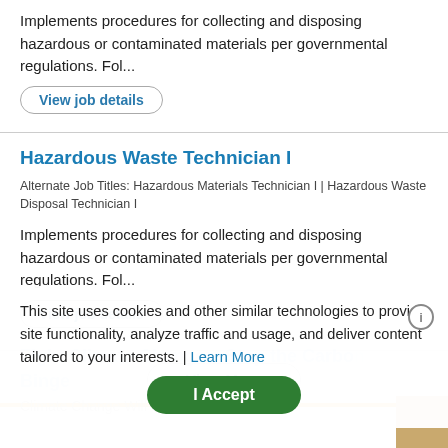Implements procedures for collecting and disposing hazardous or contaminated materials per governmental regulations. Fol...
View job details
Hazardous Waste Technician I
Alternate Job Titles: Hazardous Materials Technician I | Hazardous Waste Disposal Technician I
Implements procedures for collecting and disposing hazardous or contaminated materials per governmental regulations. Fol...
View job details
View More
This site uses cookies and other similar technologies to provide site functionality, analyze traffic and usage, and deliver content tailored to your interests. | Learn More
Fight Climate Change – Stop the Carbon Binge
Climate Change Will Become Irreversible